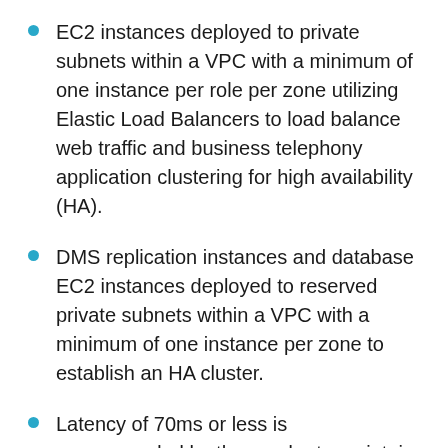EC2 instances deployed to private subnets within a VPC with a minimum of one instance per role per zone utilizing Elastic Load Balancers to load balance web traffic and business telephony application clustering for high availability (HA).
DMS replication instances and database EC2 instances deployed to reserved private subnets within a VPC with a minimum of one instance per zone to establish an HA cluster.
Latency of 70ms or less is recommended by the vendor to maintain call quality for customers and voice analytics software. This required placement of media servers close to session border controls and telecommunications services